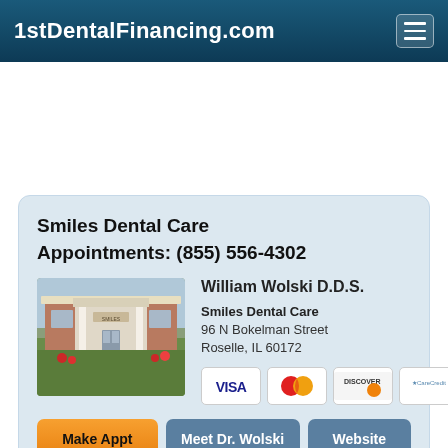1stDentalFinancing.com
Smiles Dental Care
Appointments: (855) 556-4302
[Figure (photo): Exterior photo of Smiles Dental Care office building with white columns, brick facade, and landscaping with flowers and green grass]
William Wolski D.D.S.
Smiles Dental Care
96 N Bokelman Street
Roselle, IL 60172
[Figure (logo): Payment method logos: Visa, MasterCard, Discover, CareCredit]
Make Appt
Meet Dr. Wolski
Website
more info ...